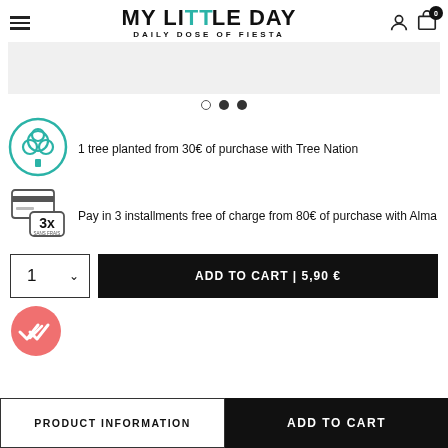MY LITTLE DAY — DAILY DOSE OF FIESTA
[Figure (illustration): Light grey product image placeholder banner]
[Figure (illustration): Carousel dots: empty, filled, filled]
[Figure (illustration): Green tree/leaf icon for Tree Nation promotion]
1 tree planted from 30€ of purchase with Tree Nation
[Figure (illustration): 3x installments payment icon with credit card]
Pay in 3 installments free of charge from 80€ of purchase with Alma
ADD TO CART | 5,90 €
[Figure (illustration): Pink circle with double checkmark wishlist/confirmation icon]
PRODUCT INFORMATION
ADD TO CART